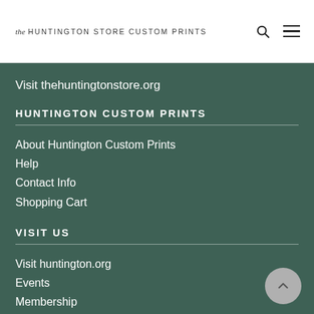the HUNTINGTON STORE CUSTOM PRINTS
Visit thehuntingtonstore.org
HUNTINGTON CUSTOM PRINTS
About Huntington Custom Prints
Help
Contact Info
Shopping Cart
VISIT US
Visit huntington.org
Events
Membership